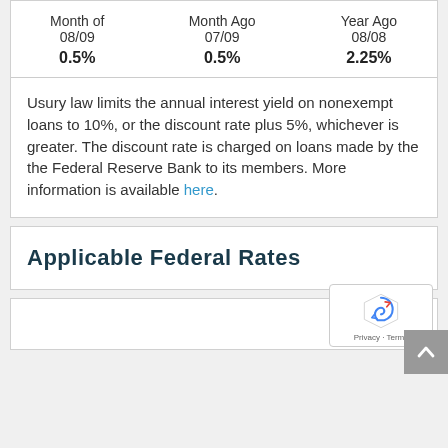| Month of
08/09 | Month Ago
07/09 | Year Ago
08/08 |
| --- | --- | --- |
| 0.5% | 0.5% | 2.25% |
Usury law limits the annual interest yield on nonexempt loans to 10%, or the discount rate plus 5%, whichever is greater. The discount rate is charged on loans made by the the Federal Reserve Bank to its members. More information is available here.
Applicable Federal Rates